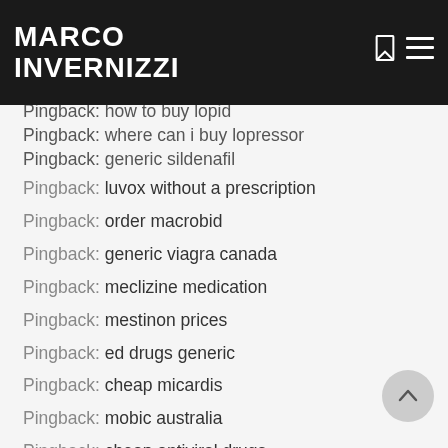MARCO INVERNIZZI
Pingback: how to buy lopid
Pingback: where can i buy lopressor
Pingback: generic sildenafil
Pingback: luvox without a prescription
Pingback: order macrobid
Pingback: generic viagra canada
Pingback: meclizine medication
Pingback: mestinon prices
Pingback: ed drugs generic
Pingback: cheap micardis
Pingback: mobic australia
Pingback: cheap antiviral drugs
Pingback: cheap motrin
Pingback: nortriptyline purchase
Pingback: periactin for sale
Pingback: online pharmacy canada
Pingback: phenergan without a doctor prescription
Pingback: canada drugs online
Pingback: plaquenil 400mg generic